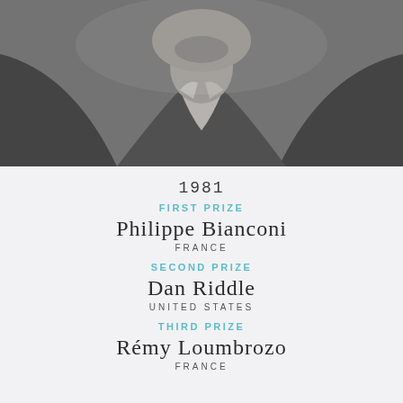[Figure (photo): Black and white close-up photo of a person wearing a suit jacket and open-collar shirt, cropped from shoulders/neck area upward]
1981
FIRST PRIZE
Philippe Bianconi
FRANCE
SECOND PRIZE
Dan Riddle
UNITED STATES
THIRD PRIZE
Rémy Loumbrozo
FRANCE